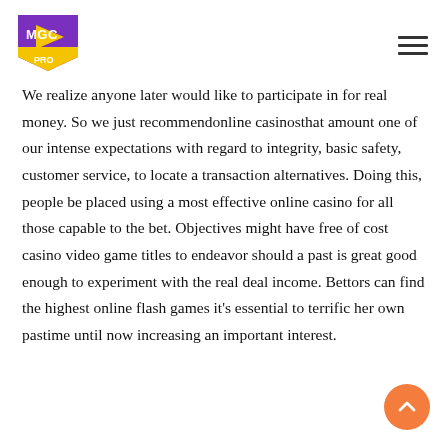[Figure (logo): MGC PRO logo — purple play-button shield shape with yellow text 'MGC' and white 'PRO' on a purple/yellow badge]
We realize anyone later would like to participate in for real money. So we just recommendonline casinosthat amount one of our intense expectations with regard to integrity, basic safety, customer service, to locate a transaction alternatives. Doing this, people be placed using a most effective online casino for all those capable to the bet. Objectives might have free of cost casino video game titles to endeavor should a past is great good enough to experiment with the real deal income. Bettors can find the highest online flash games it’s essential to terrific her own pastime until now increasing an important interest.